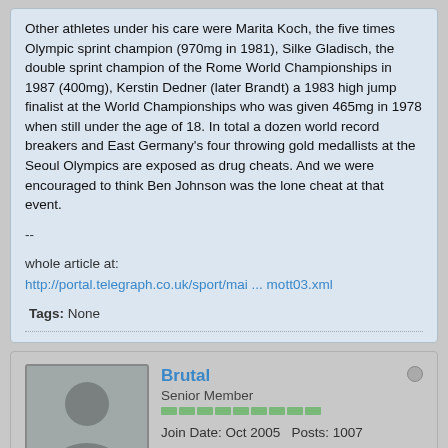Other athletes under his care were Marita Koch, the five times Olympic sprint champion (970mg in 1981), Silke Gladisch, the double sprint champion of the Rome World Championships in 1987 (400mg), Kerstin Dedner (later Brandt) a 1983 high jump finalist at the World Championships who was given 465mg in 1978 when still under the age of 18. In total a dozen world record breakers and East Germany's four throwing gold medallists at the Seoul Olympics are exposed as drug cheats. And we were encouraged to think Ben Johnson was the lone cheat at that event.
--
whole article at:
http://portal.telegraph.co.uk/sport/mai ... mott03.xml
Tags: None
Brutal
Senior Member
Join Date: Oct 2005  Posts: 1007
05-05-2004, 06:42 AM